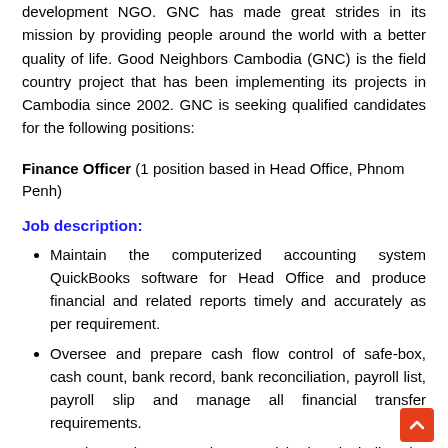development NGO. GNC has made great strides in its mission by providing people around the world with a better quality of life. Good Neighbors Cambodia (GNC) is the field country project that has been implementing its projects in Cambodia since 2002. GNC is seeking qualified candidates for the following positions:
Finance Officer (1 position based in Head Office, Phnom Penh)
Job description:
Maintain the computerized accounting system QuickBooks software for Head Office and produce financial and related reports timely and accurately as per requirement.
Oversee and prepare cash flow control of safe-box, cash count, bank record, bank reconciliation, payroll list, payroll slip and manage all financial transfer requirements.
Develop and manage the annual budget including the operating and various contracts.
Monitor actual expenditure versus budgets of head office periodically.